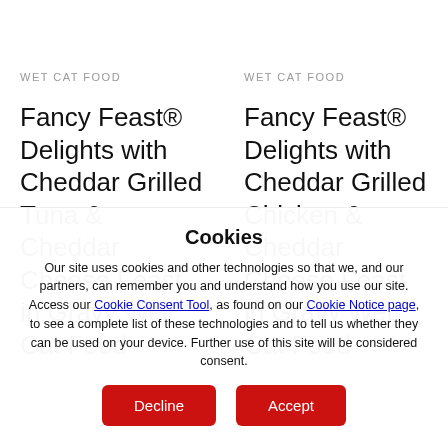WET CAT FOOD
Fancy Feast® Delights with Cheddar Grilled Tuna & Cheddar Cheese Feast in Gravy Wet Cat Food
WET CAT FOOD
Fancy Feast® Delights with Cheddar Grilled Chicken & Cheddar Cheese Feast in Gravy Wet Cat Food
Cookies
Our site uses cookies and other technologies so that we, and our partners, can remember you and understand how you use our site. Access our Cookie Consent Tool, as found on our Cookie Notice page, to see a complete list of these technologies and to tell us whether they can be used on your device. Further use of this site will be considered consent.